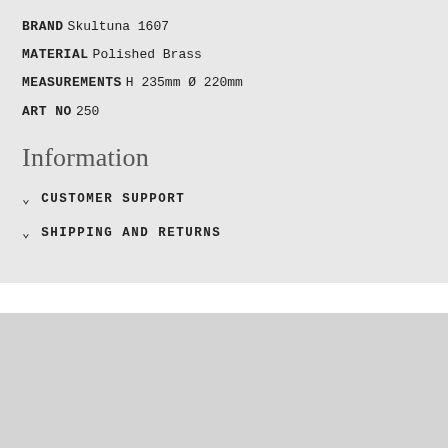BRAND  Skultuna 1607
MATERIAL  Polished Brass
MEASUREMENTS  H 235mm Ø 220mm
ART NO  250
Information
CUSTOMER SUPPORT
SHIPPING AND RETURNS